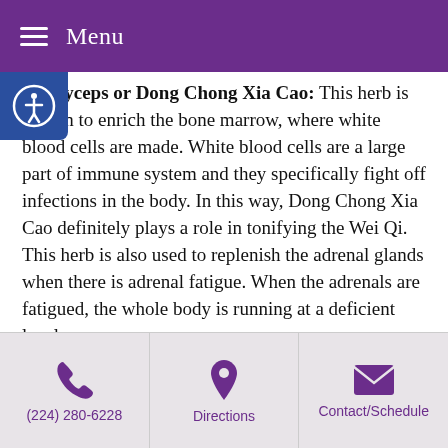Menu
Cordyceps or Dong Chong Xia Cao: This herb is known to enrich the bone marrow, where white blood cells are made. White blood cells are a large part of immune system and they specifically fight off infections in the body. In this way, Dong Chong Xia Cao definitely plays a role in tonifying the Wei Qi. This herb is also used to replenish the adrenal glands when there is adrenal fatigue. When the adrenals are fatigued, the whole body is running at a deficient level.
Reishi Mushroom or Ling Zhi: This herb is sometimes called the “great protector” because it guards the body against the detrimental effects stress can have on the physical body. When taken regularly, it has been shown to improve immunity, while also
(224) 280-6228 | Directions | Contact/Schedule